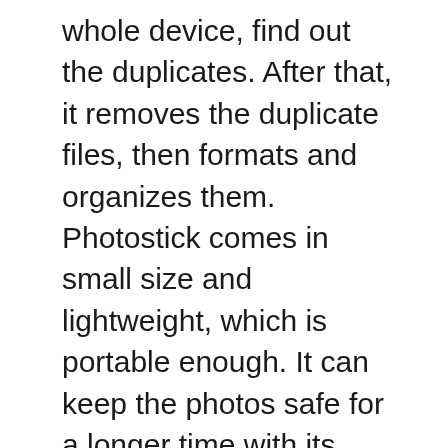whole device, find out the duplicates. After that, it removes the duplicate files, then formats and organizes them. Photostick comes in small size and lightweight, which is portable enough. It can keep the photos safe for a longer time with its durability. For backing up or using this device, it doesn’t require any ID or password.
With its 128 GB storage capacity, this device saves up to 60,000 photos. It backups every single photo of mine. So if I lost or deleted any photos I can easily recover them from its app. With its huge storage capacity, photostick doesn’t charge additional subscription fees. Without any extra cost,